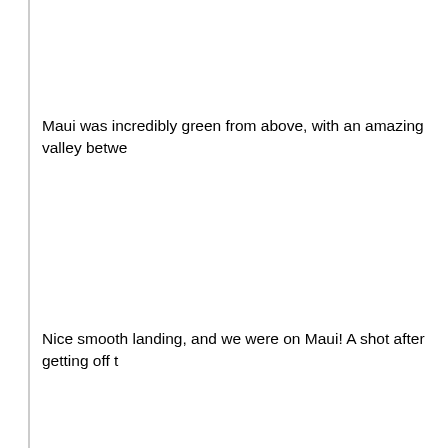Maui was incredibly green from above, with an amazing valley betwe…
Nice smooth landing, and we were on Maui!  A shot after getting off t…
…and with that, one of the most pleasant flights I've had.  My only pr… was in Guyana a couple years ago, and I loved it.  Both of these fligh… license some day…just what I need…another expensive hobby.  Mok… really neat to have a flight that felt like more than just a generic cattle… somewhere to look up more data on Cessna tail numbers!
Off to Alamo again to pick up our rental car, and it was off to the She… days.